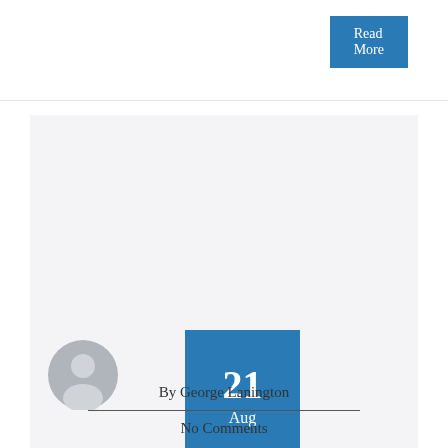Read More
[Figure (illustration): Gray background card section with a blue date badge showing '21 Aug']
[Figure (illustration): Gray circular user avatar/profile icon]
By George Lanington
No Comments